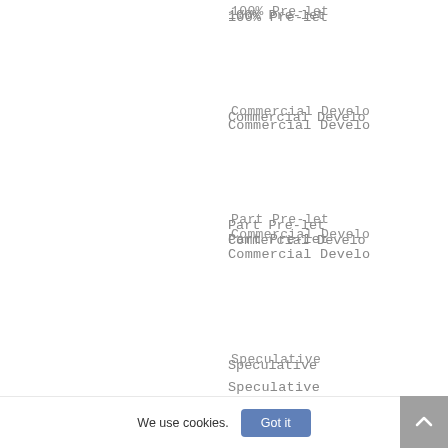100% Pre-let
Commercial Develo
Part Pre-let Commercial Develo
Speculative
Residential Devel
for Sale Residential Devel
for Hold & Rent
Land Loans with P
We use cookies.
Got it